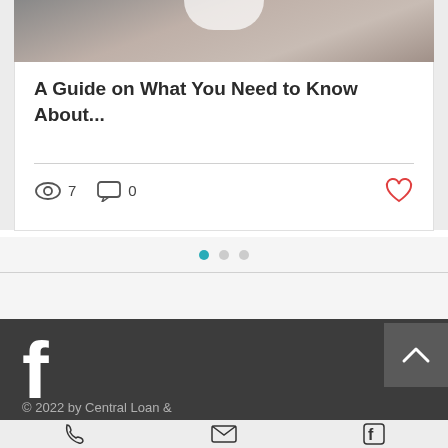[Figure (photo): Top portion of a blog post card showing a bedroom/interior photo in muted brown tones]
A Guide on What You Need to Know About...
7 views  0 comments  like button
[Figure (infographic): Pagination dots: one active teal dot and two gray dots]
[Figure (logo): Facebook 'f' logo in white on dark gray footer background]
[Figure (other): Back to top arrow button — upward chevron on dark background]
© 2022 by Central Loan &
[Figure (infographic): Bottom bar with phone icon, email envelope icon, and Facebook icon]